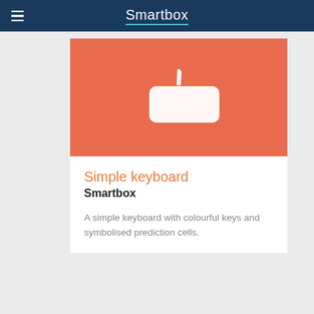Smartbox
[Figure (illustration): Salmon/orange square card image with a white keyboard icon (rounded rectangle with a stylus/pen above it) on a coral-red background.]
Simple keyboard
Smartbox
A simple keyboard with colourful keys and symbolised prediction cells.